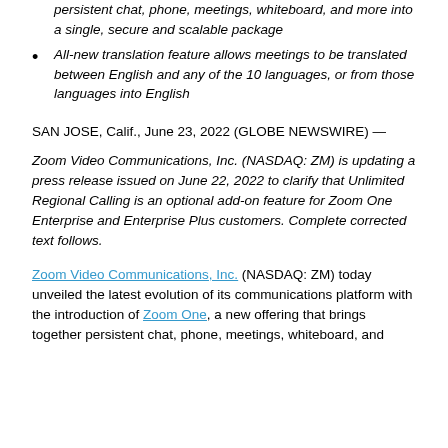persistent chat, phone, meetings, whiteboard, and more into a single, secure and scalable package
All-new translation feature allows meetings to be translated between English and any of the 10 languages, or from those languages into English
SAN JOSE, Calif., June 23, 2022 (GLOBE NEWSWIRE) —
Zoom Video Communications, Inc. (NASDAQ: ZM) is updating a press release issued on June 22, 2022 to clarify that Unlimited Regional Calling is an optional add-on feature for Zoom One Enterprise and Enterprise Plus customers. Complete corrected text follows.
Zoom Video Communications, Inc. (NASDAQ: ZM) today unveiled the latest evolution of its communications platform with the introduction of Zoom One, a new offering that brings together persistent chat, phone, meetings, whiteboard, and